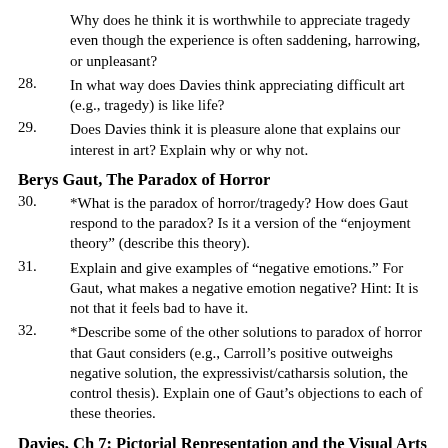Why does he think it is worthwhile to appreciate tragedy even though the experience is often saddening, harrowing, or unpleasant?
28. In what way does Davies think appreciating difficult art (e.g., tragedy) is like life?
29. Does Davies think it is pleasure alone that explains our interest in art? Explain why or why not.
Berys Gaut, The Paradox of Horror
30. *What is the paradox of horror/tragedy? How does Gaut respond to the paradox? Is it a version of the “enjoyment theory” (describe this theory).
31. Explain and give examples of “negative emotions.” For Gaut, what makes a negative emotion negative? Hint: It is not that it feels bad to have it.
32. *Describe some of the other solutions to paradox of horror that Gaut considers (e.g., Carroll’s positive outweighs negative solution, the expressivist/catharsis solution, the control thesis). Explain one of Gaut’s objections to each of these theories.
Davies, Ch 7: Pictorial Representation and the Visual Arts
33. Give an example of picture that is not representational. Now give an example of a pictorial representation that is not an artwork.